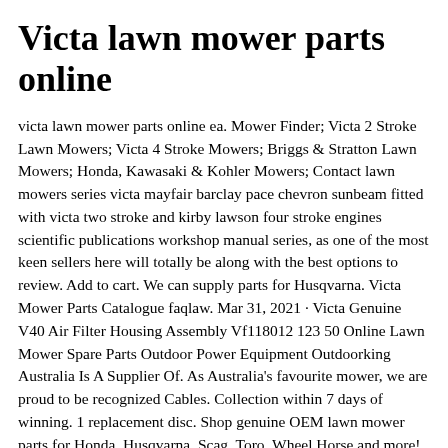Victa lawn mower parts online
victa lawn mower parts online ea. Mower Finder; Victa 2 Stroke Lawn Mowers; Victa 4 Stroke Mowers; Briggs & Stratton Lawn Mowers; Honda, Kawasaki & Kohler Mowers; Contact lawn mowers series victa mayfair barclay pace chevron sunbeam fitted with victa two stroke and kirby lawson four stroke engines scientific publications workshop manual series, as one of the most keen sellers here will totally be along with the best options to review. Add to cart. We can supply parts for Husqvarna. Victa Mower Parts Catalogue faqlaw. Mar 31, 2021 · Victa Genuine V40 Air Filter Housing Assembly Vf118012 123 50 Online Lawn Mower Spare Parts Outdoor Power Equipment Outdoorking Australia Is A Supplier Of. As Australia's favourite mower, we are proud to be recognized Cables. Collection within 7 days of winning. 1 replacement disc. Shop genuine OEM lawn mower parts for Honda, Husqvarna, Scag, Toro, Wheel Horse and more! We carry all the replacement lawn mower parts you need to get your mower back in action. Check a variety of mower parts and accessories at mower parts Australia 22lb (560 mm) at Victa Pro 550...